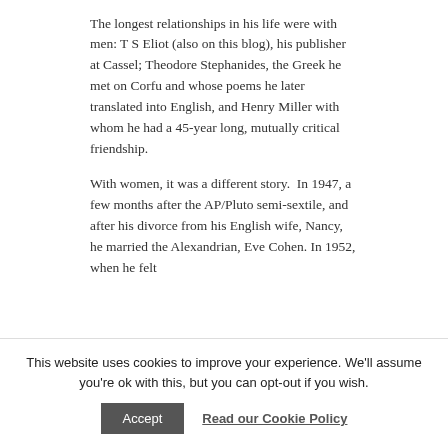The longest relationships in his life were with men: T S Eliot (also on this blog), his publisher at Cassel; Theodore Stephanides, the Greek he met on Corfu and whose poems he later translated into English, and Henry Miller with whom he had a 45-year long, mutually critical friendship.

With women, it was a different story. In 1947, a few months after the AP/Pluto semi-sextile, and after his divorce from his English wife, Nancy, he married the Alexandrian, Eve Cohen. In 1952, when he felt
This website uses cookies to improve your experience. We'll assume you're ok with this, but you can opt-out if you wish.
Accept   Read our Cookie Policy